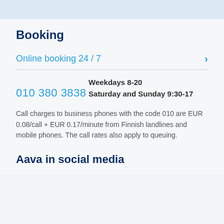Booking
Online booking 24 / 7
010 380 3838
Weekdays 8-20
Saturday and Sunday 9:30-17
Call charges to business phones with the code 010 are EUR 0.08/call + EUR 0.17/minute from Finnish landlines and mobile phones. The call rates also apply to queuing.
Aava in social media